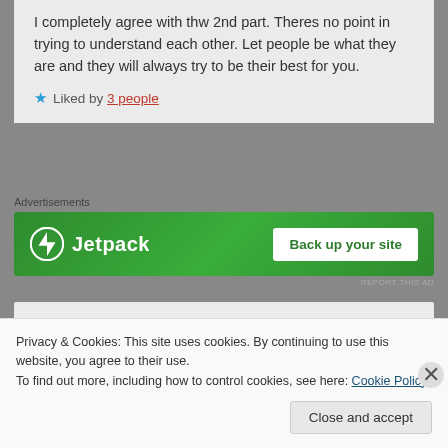I completely agree with thw 2nd part. Theres no point in trying to understand each other. Let people be what they are and they will always try to be their best for you.
Liked by 3 people
[Figure (screenshot): Jetpack advertisement banner with green background, Jetpack logo on left and 'Back up your site' button on right]
Advertisements
REPORT THIS AD
E J Pareils
Log in to Reply
November 1, 2017 at 1:17 am
Privacy & Cookies: This site uses cookies. By continuing to use this website, you agree to their use.
To find out more, including how to control cookies, see here: Cookie Policy
Close and accept